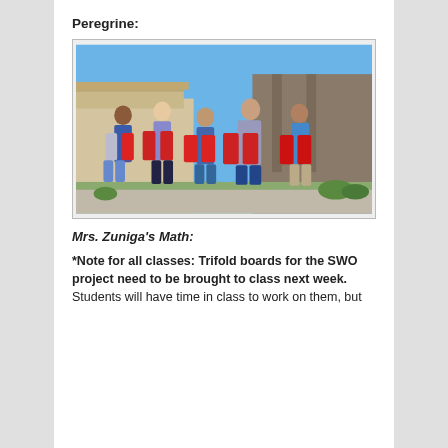Peregrine:
[Figure (photo): Five students standing outdoors in front of school buildings, each holding a red trifold or paper project. Blue sky visible in background.]
Mrs. Zuniga's Math:
*Note for all classes: Trifold boards for the SWO project need to be brought to class next week. Students will have time in class to work on them, but